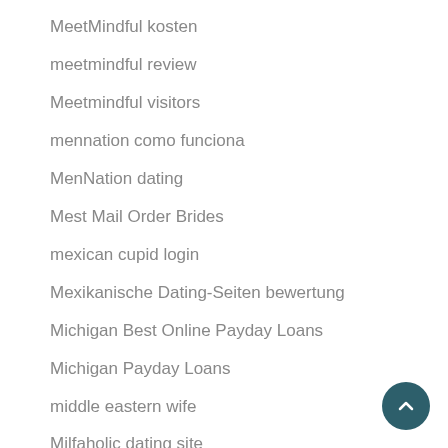MeetMindful kosten
meetmindful review
Meetmindful visitors
mennation como funciona
MenNation dating
Mest Mail Order Brides
mexican cupid login
Mexikanische Dating-Seiten bewertung
Michigan Best Online Payday Loans
Michigan Payday Loans
middle eastern wife
Milfaholic dating site